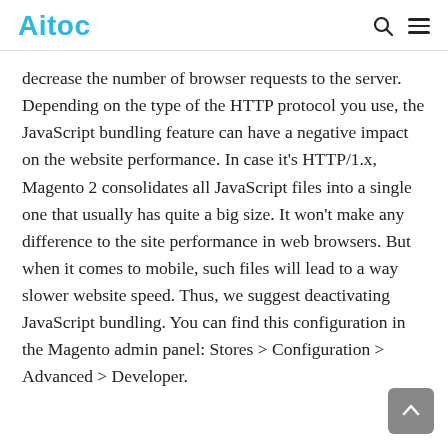Aitoc
decrease the number of browser requests to the server. Depending on the type of the HTTP protocol you use, the JavaScript bundling feature can have a negative impact on the website performance. In case it’s HTTP/1.x, Magento 2 consolidates all JavaScript files into a single one that usually has quite a big size. It won’t make any difference to the site performance in web browsers. But when it comes to mobile, such files will lead to a way slower website speed. Thus, we suggest deactivating JavaScript bundling. You can find this configuration in the Magento admin panel: Stores > Configuration > Advanced > Developer.